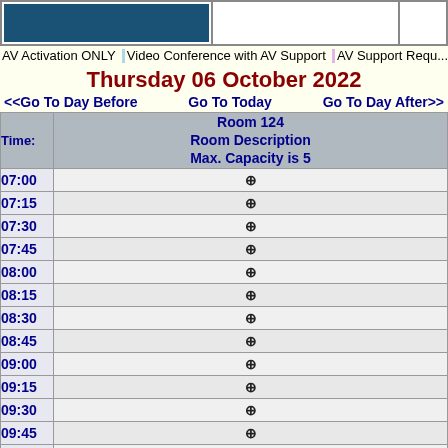[Figure (other): Top banner with blue rectangle and colored legend boxes for AV activation types]
AV Activation ONLY  Video Conference with AV Support  AV Support Reque...
Thursday 06 October 2022
<<Go To Day Before    Go To Today    Go To Day After>>
| Time: | Room 124
Room Description
Max. Capacity is 5 |
| --- | --- |
| 07:00 | ⊕ |
| 07:15 | ⊕ |
| 07:30 | ⊕ |
| 07:45 | ⊕ |
| 08:00 | ⊕ |
| 08:15 | ⊕ |
| 08:30 | ⊕ |
| 08:45 | ⊕ |
| 09:00 | ⊕ |
| 09:15 | ⊕ |
| 09:30 | ⊕ |
| 09:45 | ⊕ |
| 10:00 | ⊕ |
| 10:15 | ⊕ |
| 10:30 | ⊕ |
| 10:45 | ⊕ |